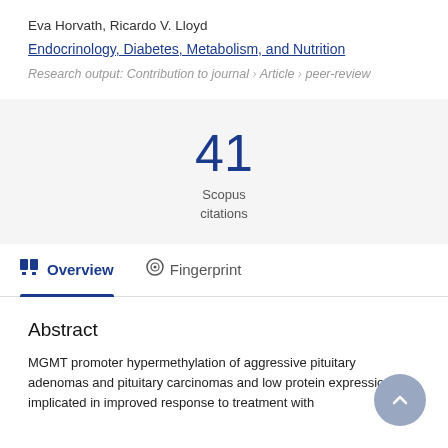Eva Horvath, Ricardo V. Lloyd
Endocrinology, Diabetes, Metabolism, and Nutrition
Research output: Contribution to journal › Article › peer-review
41
Scopus
citations
Abstract
MGMT promoter hypermethylation of aggressive pituitary adenomas and pituitary carcinomas and low protein expression are implicated in improved response to treatment with